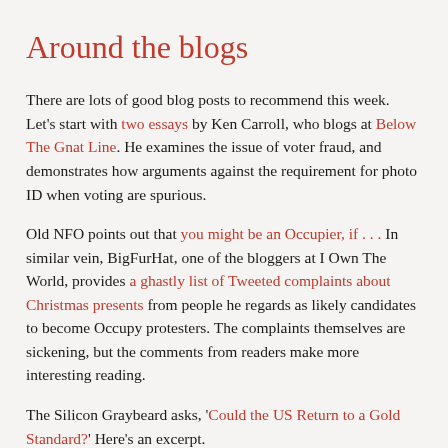Around the blogs
There are lots of good blog posts to recommend this week. Let's start with two essays by Ken Carroll, who blogs at Below The Gnat Line. He examines the issue of voter fraud, and demonstrates how arguments against the requirement for photo ID when voting are spurious.
Old NFO points out that you might be an Occupier, if . . . In similar vein, BigFurHat, one of the bloggers at I Own The World, provides a ghastly list of Tweeted complaints about Christmas presents from people he regards as likely candidates to become Occupy protesters. The complaints themselves are sickening, but the comments from readers make more interesting reading.
The Silicon Graybeard asks, 'Could the US Return to a Gold Standard?' Here's an excerpt.